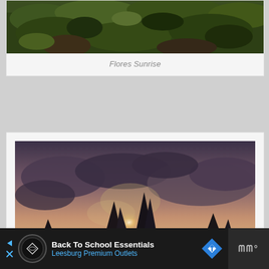[Figure (photo): Partial view of green hillside vegetation (top of Flores Sunrise photo)]
Flores Sunrise
[Figure (photo): Dramatic beach scene at sunset with dark rock formations silhouetted against a purple-orange sky, misty water on sandy beach - Adraga Storm]
Adraga Storm
[Figure (other): Advertisement banner: Back To School Essentials - Leesburg Premium Outlets]